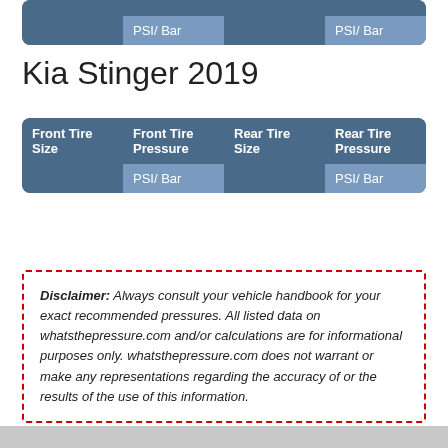| Front Tire Size | Front Tire Pressure | Rear Tire Size | Rear Tire Pressure |
| --- | --- | --- | --- |
|  | PSI/ Bar |  | PSI/ Bar |
Kia Stinger 2019
| Front Tire Size | Front Tire Pressure | Rear Tire Size | Rear Tire Pressure |
| --- | --- | --- | --- |
|  | PSI/ Bar |  | PSI/ Bar |
Disclaimer: Always consult your vehicle handbook for your exact recommended pressures. All listed data on whatsthepressure.com and/or calculations are for informational purposes only. whatsthepressure.com does not warrant or make any representations regarding the accuracy of or the results of the use of this information.